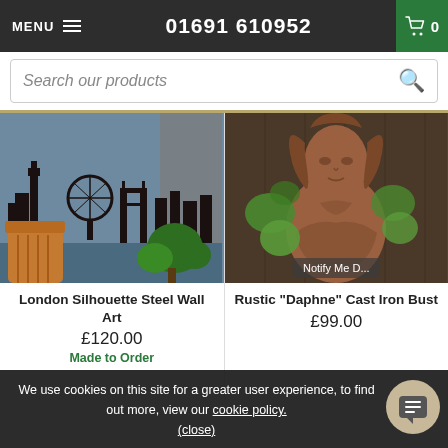MENU  01691 610952  0
Search our products
[Figure (photo): London skyline silhouette steel wall art mounted on a blue-grey wall above an orange leather chair and green plant]
London Silhouette Steel Wall Art
£120.00
Made to Order
[Figure (photo): Rustic cast iron bust of Daphne, a female figure with flowing hair, surrounded by green foliage]
Rustic "Daphne" Cast Iron Bust
£99.00
We use cookies on this site for a greater user experience, to find out more, view our cookie policy. (close)